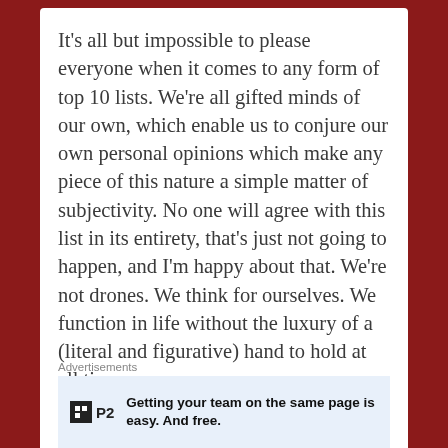It's all but impossible to please everyone when it comes to any form of top 10 lists. We're all gifted minds of our own, which enable us to conjure our own personal opinions which make any piece of this nature a simple matter of subjectivity. No one will agree with this list in its entirety, that's just not going to happen, and I'm happy about that. We're not drones. We think for ourselves. We function in life without the luxury of a (literal and figurative) hand to hold at all times.
Advertisements
Getting your team on the same page is easy. And free.